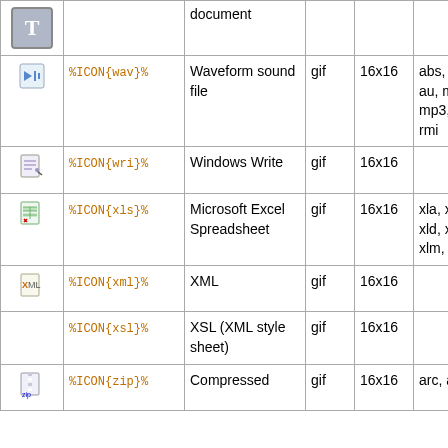| Icon | Macro | Description | Type | Size | File extensions |
| --- | --- | --- | --- | --- | --- |
| [T icon] |  | document |  |  |  |
| [wav icon] | %ICON{wav}% | Waveform sound file | gif | 16x16 | abs, aif, aiff, au, mid, mp2, mp3, mpega, rmi |
| [wri icon] | %ICON{wri}% | Windows Write | gif | 16x16 |  |
| [xls icon] | %ICON{xls}% | Microsoft Excel Spreadsheet | gif | 16x16 | xla, xlb, xlc, xld, xlk, xll, xlm, xlt, xlw |
| [xml icon] | %ICON{xml}% | XML | gif | 16x16 |  |
|  | %ICON{xsl}% | XSL (XML style sheet) | gif | 16x16 |  |
| [zip icon] | %ICON{zip}% | Compressed | gif | 16x16 | arc, arj, |